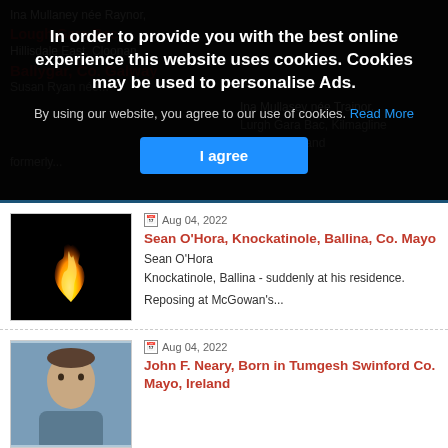[Figure (screenshot): Cookie consent overlay on a dark background showing blurred obituary website content]
In order to provide you with the best online experience this website uses cookies. Cookies may be used to personalise Ads.
By using our website, you agree to our use of cookies. Read More
I agree
Aug 04, 2022
Sean O'Hora, Knockatinole, Ballina, Co. Mayo
Sean O'Hora
Knockatinole, Ballina - suddenly at his residence.
Reposing at McGowan's...
Aug 04, 2022
John F. Neary, Born in Tumgesh Swinford Co. Mayo, Ireland